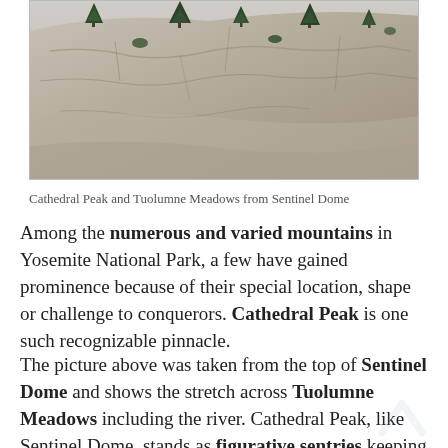[Figure (photo): Photograph of granite rock slabs with sparse pine trees growing from cracks, taken from Sentinel Dome looking toward Cathedral Peak and Tuolumne Meadows]
Cathedral Peak and Tuolumne Meadows from Sentinel Dome
Among the numerous and varied mountains in Yosemite National Park, a few have gained prominence because of their special location, shape or challenge to conquerors. Cathedral Peak is one such recognizable pinnacle.
The picture above was taken from the top of Sentinel Dome and shows the stretch across Tuolumne Meadows including the river. Cathedral Peak, like Sentinel Dome, stands as figurative sentries keeping watch over the expanse.